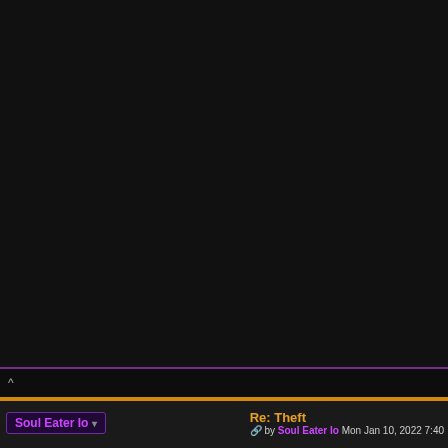[Figure (screenshot): Dark themed forum page top section with partial screenshot of content. Right side shows a support banner with text 'Show your support! Every dolla...']
Show your support! Every dolla
^
Re: Theft
by Soul Eater Io Mon Jan 10, 2022 7:40
Soul Eater Io
[Figure (illustration): Anime-style character illustration with dark hair, partial view, with 'SOUL EAT...' text overlay]
Xiaoxiao wrote:
Xiaoxiao wrote:
Kasey wrote:
Enlarge this image
Clic